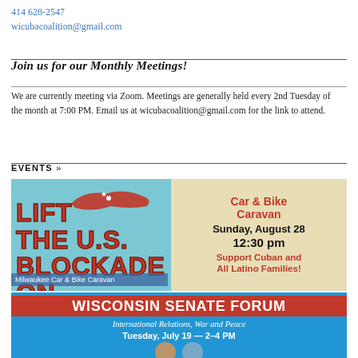414 628-2547
wicubacoalition@gmail.com
Join us for our Monthly Meetings!
We are currently meeting via Zoom. Meetings are generally held every 2nd Tuesday of the month at 7:00 PM. Email us at wicubacoalition@gmail.com for the link to attend.
EVENTS »
[Figure (photo): Milwaukee Car & Bike Caravan event flyer. Left side: cyan/teal background with red text 'LIFT THE U.S. BLOCKADE ON' and a stylized Cuba map. Right side: beige background with red bold text 'Car & Bike Caravan', black bold text 'Sunday, August 28', black bold '12:30 pm', red bold 'Support Cuban and All Latino Families!'. Caption overlay: 'Milwaukee Car & Bike Caravan'.]
[Figure (photo): Wisconsin Senate Forum event flyer. Blue background with red banner containing white bold text 'WISCONSIN SENATE FORUM'. Italic white text: 'International Relations, War and Peace'. White bold text: 'Tuesday, July 19 — 2-4 PM'. Faces/portraits visible at bottom.]